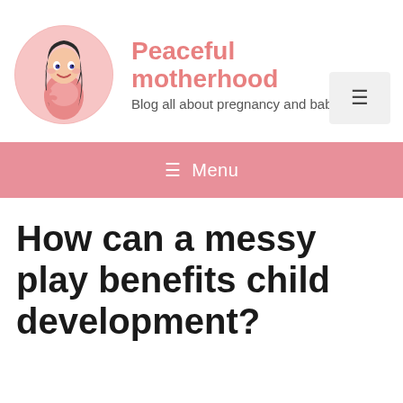Peaceful motherhood — Blog all about pregnancy and babies
How can a messy play benefits child development?